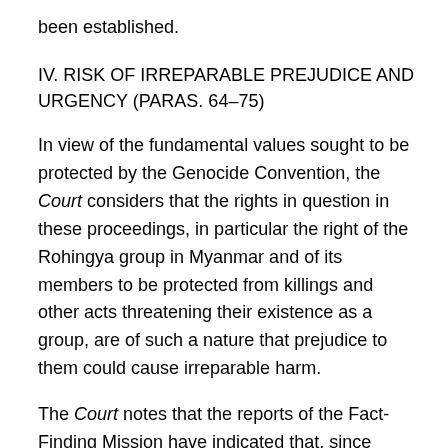been established.
IV. RISK OF IRREPARABLE PREJUDICE AND URGENCY (PARAS. 64–75)
In view of the fundamental values sought to be protected by the Genocide Convention, the Court considers that the rights in question in these proceedings, in particular the right of the Rohingya group in Myanmar and of its members to be protected from killings and other acts threatening their existence as a group, are of such a nature that prejudice to them could cause irreparable harm.
The Court notes that the reports of the Fact-Finding Mission have indicated that, since October 2016, the Rohingya in Myanmar have been subjected to acts which